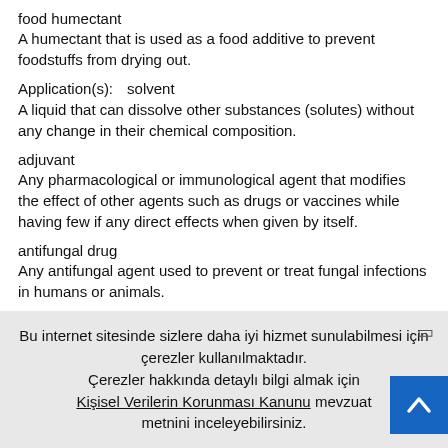food humectant
A humectant that is used as a food additive to prevent foodstuffs from drying out.
Application(s):    solvent
A liquid that can dissolve other substances (solutes) without any change in their chemical composition.
adjuvant
Any pharmacological or immunological agent that modifies the effect of other agents such as drugs or vaccines while having few if any direct effects when given by itself.
antifungal drug
Any antifungal agent used to prevent or treat fungal infections in humans or animals.
Bu internet sitesinde sizlere daha iyi hizmet sunulabilmesi için çerezler kullanılmaktadır. Çerezler hakkında detaylı bilgi almak için Kişisel Verilerin Korunması Kanunu mevzuat metnini inceleyebilirsiniz.